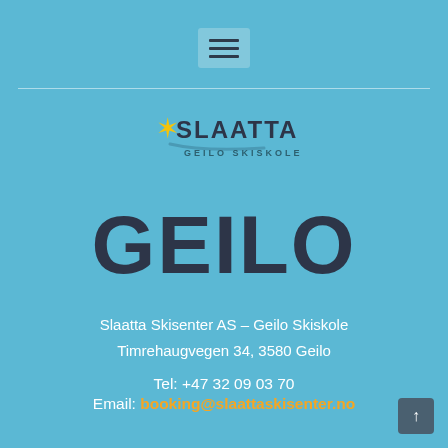[Figure (logo): Slaatta Geilo Skiskole logo with star and ski slope graphic, with text SLAATTA and GEILO SKISKOLE]
GEILO
Slaatta Skisenter AS – Geilo Skiskole
Timrehaugvegen 34, 3580 Geilo
Tel: +47 32 09 03 70
Email: booking@slaattaskisenter.no